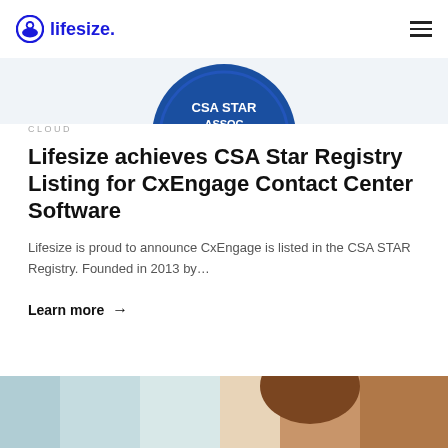lifesize
[Figure (logo): CSA STAR ASSOC partial badge/logo in blue, partially cropped at top]
CLOUD
Lifesize achieves CSA Star Registry Listing for CxEngage Contact Center Software
Lifesize is proud to announce CxEngage is listed in the CSA STAR Registry. Founded in 2013 by…
Learn more →
[Figure (photo): Bottom strip of a photo showing a person, partially cropped]